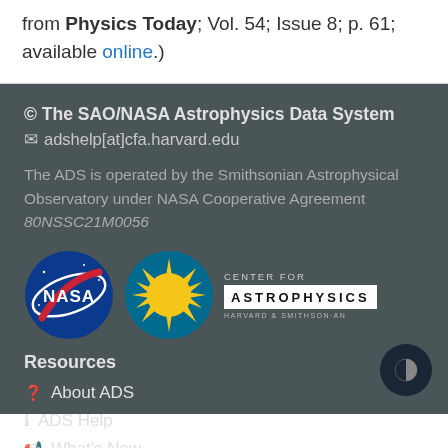from Physics Today; Vol. 54; Issue 8; p. 61; available online.)
© The SAO/NASA Astrophysics Data System
✉ adshelp[at]cfa.harvard.edu
The ADS is operated by the Smithsonian Astrophysical Observatory under NASA Cooperative Agreement 80NSSC21M0056
[Figure (logo): NASA logo circle and Center for Astrophysics Harvard & Smithsonian logo]
Resources
About ADS
ADS Help
What's New